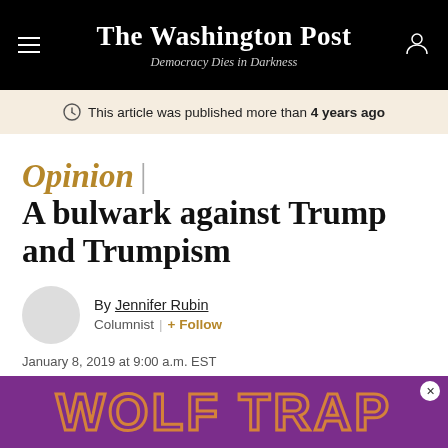The Washington Post — Democracy Dies in Darkness
This article was published more than 4 years ago
Opinion | A bulwark against Trump and Trumpism
By Jennifer Rubin
Columnist | + Follow
January 8, 2019 at 9:00 a.m. EST
Comment   Gift   Share
[Figure (illustration): Advertisement banner for Wolf Trap on purple background with orange outlined text]